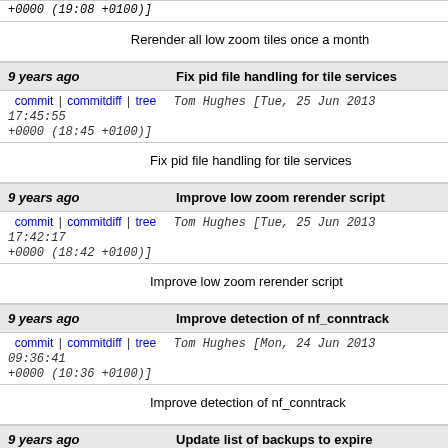+0000 (19:08 +0100)]
Rerender all low zoom tiles once a month
9 years ago   Fix pid file handling for tile services
commit | commitdiff | tree   Tom Hughes [Tue, 25 Jun 2013 17:45:55 +0000 (18:45 +0100)]
Fix pid file handling for tile services
9 years ago   Improve low zoom rerender script
commit | commitdiff | tree   Tom Hughes [Tue, 25 Jun 2013 17:42:17 +0000 (18:42 +0100)]
Improve low zoom rerender script
9 years ago   Improve detection of nf_conntrack
commit | commitdiff | tree   Tom Hughes [Mon, 24 Jun 2013 09:36:41 +0000 (10:36 +0100)]
Improve detection of nf_conntrack
9 years ago   Update list of backups to expire
commit | commitdiff | tree   Tom Hughes [Sun, 23 Jun 2013 19:47:18